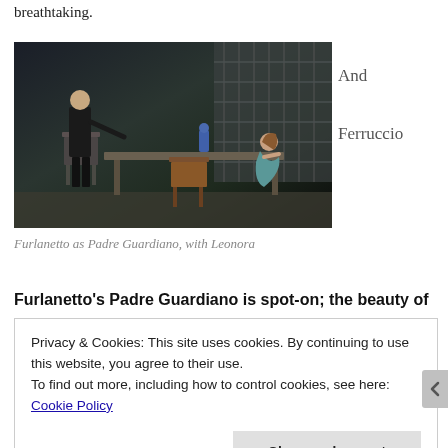breathtaking.
[Figure (photo): Opera stage scene: a man in black stands on the left near a chair, a woman in a teal dress kneels at the right end of a wooden table. A blue religious statue stands on the table. Dark stage background with shuttered windows.]
And
Ferruccio
Furlanetto as Padre Guardiano, with Leonora
Furlanetto's Padre Guardiano is spot-on; the beauty of
Privacy & Cookies: This site uses cookies. By continuing to use this website, you agree to their use.
To find out more, including how to control cookies, see here:
Cookie Policy
Close and accept